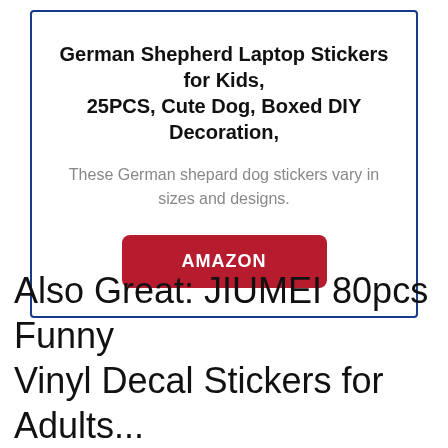German Shepherd Laptop Stickers for Kids, 25PCS, Cute Dog, Boxed DIY Decoration,
These German shepard dog stickers vary in sizes and designs.
AMAZON
Also Great: JIUMEI 80pcs Funny Vinyl Decal Stickers for Adults...